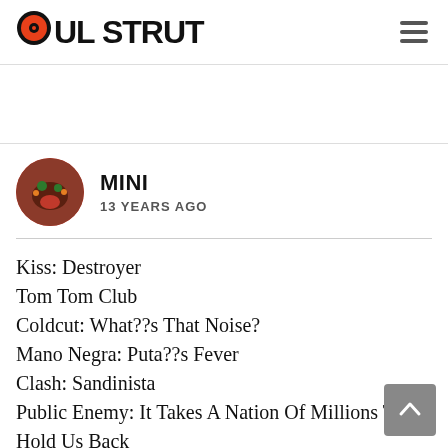SOUL STRUT
MINI
13 YEARS AGO
Kiss: Destroyer
Tom Tom Club
Coldcut: What??s That Noise?
Mano Negra: Puta??s Fever
Clash: Sandinista
Public Enemy: It Takes A Nation Of Millions To Hold Us Back
Beastie Boys: Paul??s Boutique